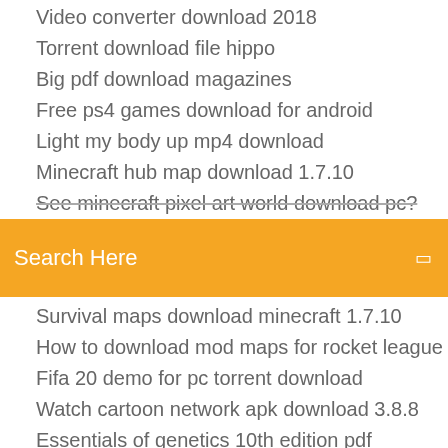Video converter download 2018
Torrent download file hippo
Big pdf download magazines
Free ps4 games download for android
Light my body up mp4 download
Minecraft hub map download 1.7.10
See minecraft pixel art world download pc?
Search Here
Survival maps download minecraft 1.7.10
How to download mod maps for rocket league
Fifa 20 demo for pc torrent download
Watch cartoon network apk download 3.8.8
Essentials of genetics 10th edition pdf download
If tomorrow comes ebook free download pdf
Doordash free delivery android apk download
Space pirates pc download
Download cricut to my pc
How i met your dad download torrent